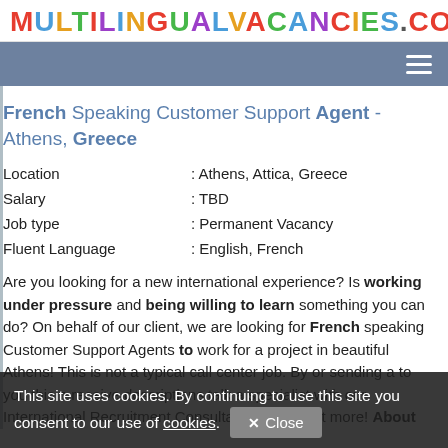MULTILINGUALVACANCIES.COM
French Speaking Customer Support Agent - Athens, Greece
| Location | : Athens, Attica, Greece |
| Salary | : TBD |
| Job type | : Permanent Vacancy |
| Fluent Language | : English, French |
Are you looking for a new international experience? Is working under pressure and being willing to learn something you can do? On behalf of our client, we are looking for French speaking Customer Support Agents to work for a project in beautiful Athens! This is not a typical call center job. By or sending a to you this n receive descriptions talk a specialist with our International Recruitment Consultants to find out more! About
This site uses cookies. By continuing to use this site you consent to our use of cookies.